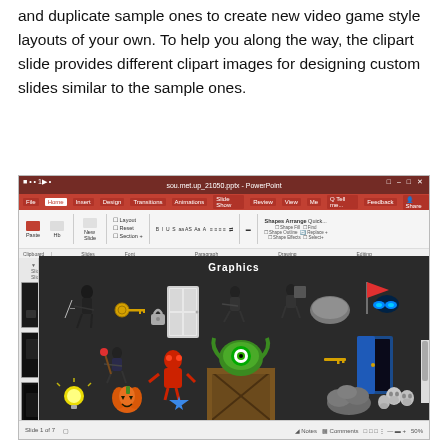and duplicate sample ones to create new video game style layouts of your own. To help you along the way, the clipart slide provides different clipart images for designing custom slides similar to the sample ones.
[Figure (screenshot): Screenshot of Microsoft PowerPoint showing a 'Graphics' slide with various video game clipart items including characters, a door, keys, a pumpkin, a star, a crate, glowing eyes, and other game-themed images. The slide panel on the left shows 6 slide thumbnails.]